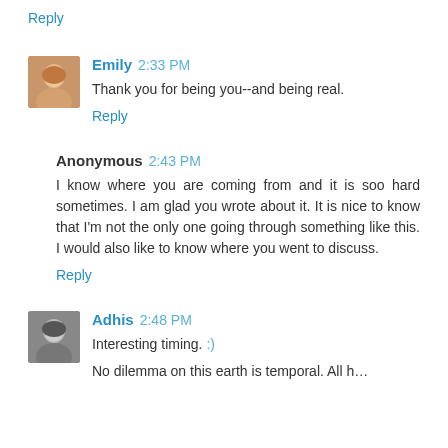Reply
Emily 2:33 PM
Thank you for being you--and being real.
Reply
Anonymous 2:43 PM
I know where you are coming from and it is soo hard sometimes. I am glad you wrote about it. It is nice to know that I'm not the only one going through something like this. I would also like to know where you went to discuss.
Reply
Adhis 2:48 PM
Interesting timing. :)
No dilemma on this earth is temporal. All has a spiritual...